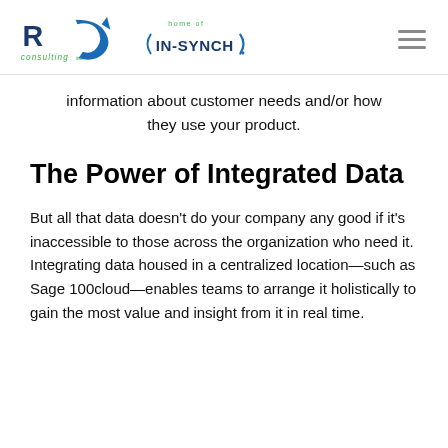[Figure (logo): ROI Consulting Inc. logo with blue arrow and green text, alongside 'home of IN-SYNCH' logo]
information about customer needs and/or how they use your product.
The Power of Integrated Data
But all that data doesn't do your company any good if it's inaccessible to those across the organization who need it. Integrating data housed in a centralized location—such as Sage 100cloud—enables teams to arrange it holistically to gain the most value and insight from it in real time.